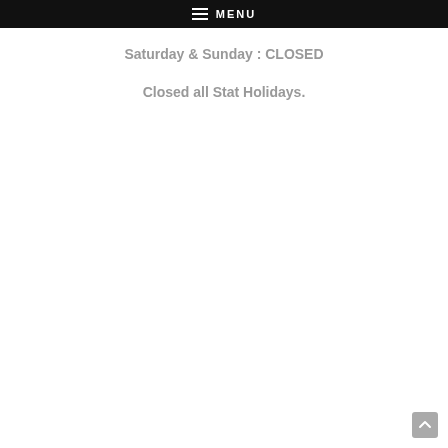MENU
Saturday & Sunday : CLOSED
Closed all Stat Holidays.